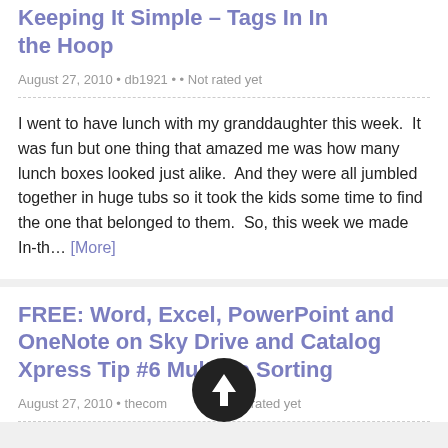Keeping It Simple – Tags In In the Hoop
August 27, 2010 • db1921 • • Not rated yet
I went to have lunch with my granddaughter this week.  It was fun but one thing that amazed me was how many lunch boxes looked just alike.  And they were all jumbled together in huge tubs so it took the kids some time to find the one that belonged to them.  So, this week we made In-th… [More]
FREE: Word, Excel, PowerPoint and OneNote on Sky Drive and Catalog Xpress Tip #6 Multiple Sorting
August 27, 2010 • thecomputerst • • Not rated yet